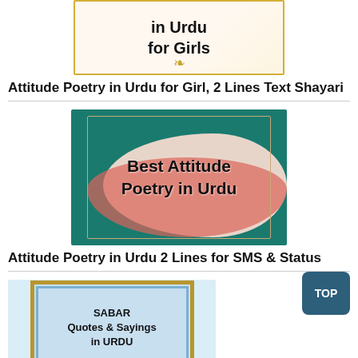[Figure (illustration): Decorative image with text 'in Urdu for Girls' in a gold border frame with golden leaf decoration, partially visible at top]
Attitude Poetry in Urdu for Girl, 2 Lines Text Shayari
[Figure (illustration): Colorful image with teal background, flowing pastel curves, and text 'Best Attitude Poetry in Urdu' in bold black letters with decorative gold border]
Attitude Poetry in Urdu 2 Lines for SMS & Status
[Figure (illustration): Light blue background with a gold-framed picture frame containing text 'SABAR Quotes & Sayings in URDU', partially visible at bottom]